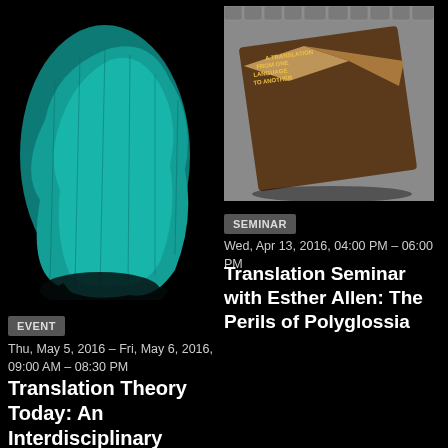[Figure (photo): Teal/turquoise fabric or textile object on black background]
EVENT
Thu, May 5, 2016 – Fri, May 6, 2016,
09:00 AM – 08:30 PM
Translation Theory Today: An Interdisciplinary Conference on Critical Theory
[Figure (photo): Book monument on cobblestone ground inscribed with 'A Translation from One Language to Another']
SEMINAR
Wed, Apr 13, 2016, 04:00 PM – 06:00 PM
Translation Seminar with Esther Allen: The Perils of Polyglossia